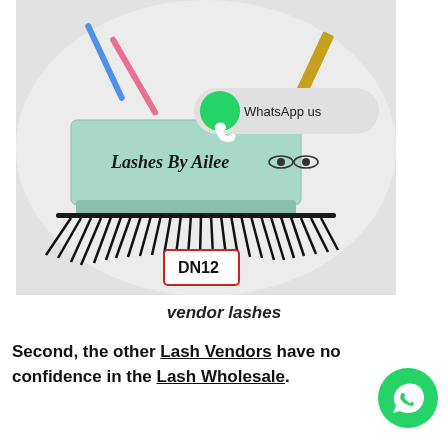[Figure (photo): Product photo showing false eyelashes labeled DN12 in a mint green box branded 'Lashes By Ailee', with mascara wands and beauty tools on a white fluffy surface. Overlaid with a WhatsApp button bubble reading 'WhatsApp us'.]
vendor lashes
Second, the other Lash Vendors have no confidence in the Lash Wholesale.